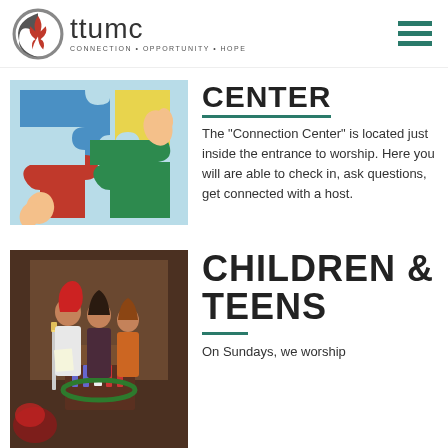[Figure (logo): TTUMC church logo with circular emblem and text 'ttumc CONNECTION • OPPORTUNITY • HOPE']
[Figure (illustration): Colorful puzzle pieces being assembled, featuring blue, red, yellow, and green pieces with hands]
CENTER
The "Connection Center" is located just inside the entrance to worship. Here you will are able to check in, ask questions, get connected with a host.
[Figure (photo): Three people at a podium in a church setting during what appears to be an Advent candle lighting ceremony]
CHILDREN & TEENS
On Sundays, we worship